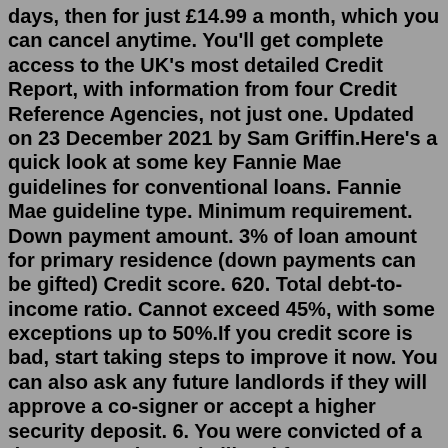days, then for just £14.99 a month, which you can cancel anytime. You'll get complete access to the UK's most detailed Credit Report, with information from four Credit Reference Agencies, not just one. Updated on 23 December 2021 by Sam Griffin.Here's a quick look at some key Fannie Mae guidelines for conventional loans. Fannie Mae guideline type. Minimum requirement. Down payment amount. 3% of loan amount for primary residence (down payments can be gifted) Credit score. 620. Total debt-to-income ratio. Cannot exceed 45%, with some exceptions up to 50%.If you credit score is bad, start taking steps to improve it now. You can also ask any future landlords if they will approve a co-signer or accept a higher security deposit. 6. You were convicted of a dangerous crime. It is illegal for a property manager or landlord to deny you rental housing for having a criminal record or simply for being ...For this reason, applicants with minimal, bad credit or no credit history at all are often approved for secured credit cards. To give you a better sense of